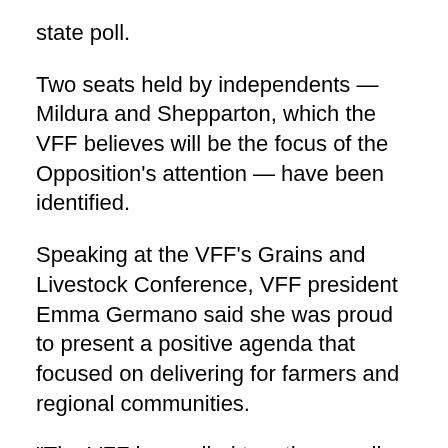state poll.
Two seats held by independents — Mildura and Shepparton, which the VFF believes will be the focus of the Opposition's attention — have been identified.
Speaking at the VFF's Grains and Livestock Conference, VFF president Emma Germano said she was proud to present a positive agenda that focused on delivering for farmers and regional communities.
“The VFF has pulled together a policy platform that doesn’t just speak to the issues farmers are facing, but the issues faced by all regional communities,” she said.